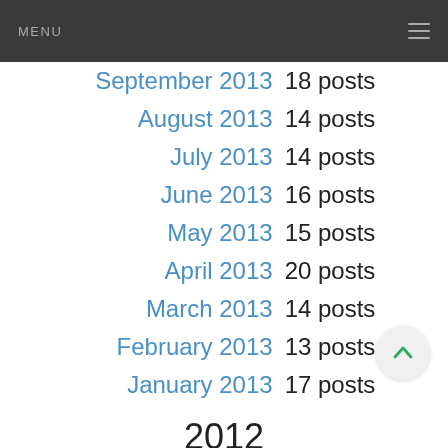MENU
September 2013  18 posts
August 2013  14 posts
July 2013  14 posts
June 2013  16 posts
May 2013  15 posts
April 2013  20 posts
March 2013  14 posts
February 2013  13 posts
January 2013  17 posts
2012
December 2012  12 posts
November 2012  11 posts